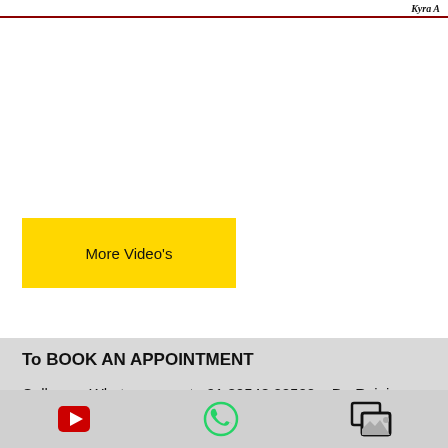Kyra A
[Figure (other): White empty area, likely video content area]
More Video's
To BOOK AN APPOINTMENT
Call us or Whatsapp us at +91 80548 02500 – Dr. Rajni
or +91 81466 66880
[Figure (other): Bottom navigation bar with YouTube icon, WhatsApp icon, and Gallery icon]